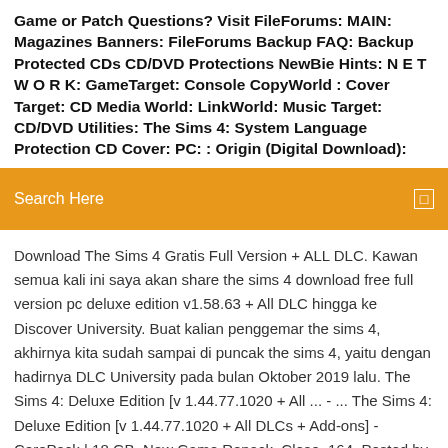Game or Patch Questions? Visit FileForums: MAIN: Magazines Banners: FileForums Backup FAQ: Backup Protected CDs CD/DVD Protections NewBie Hints: N E T W O R K: GameTarget: Console CopyWorld : Cover Target: CD Media World: LinkWorld: Music Target: CD/DVD Utilities: The Sims 4: System Language Protection CD Cover: PC: : Origin (Digital Download):
Search Here
Download The Sims 4 Gratis Full Version + ALL DLC. Kawan semua kali ini saya akan share the sims 4 download free full version pc deluxe edition v1.58.63 + All DLC hingga ke Discover University. Buat kalian penggemar the sims 4, akhirnya kita sudah sampai di puncak the sims 4, yaitu dengan hadirnya DLC University pada bulan Oktober 2019 lalu. The Sims 4: Deluxe Edition [v 1.44.77.1020 + All ... - ... The Sims 4: Deluxe Edition [v 1.44.77.1020 + All DLCs + Add-ons] - CorePack | 18 GB. New Game Repack. Close. 164. Posted by. Retired. 1 year ago.